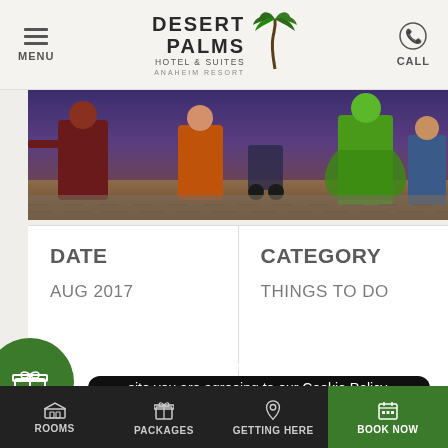MENU | DESERT PALMS HOTEL & SUITES ANAHEIM RESORT | CALL
[Figure (photo): Hero photo showing people in costume/character outfits outdoors at a resort or theme park area]
DATE
AUG 2017
CATEGORY
THINGS TO DO
READ
C... Th... At...
Our site uses cookies. By continuing to use our site you are agreeing to our Cookie Policy.

ACCEPT & CLOSE
ROOMS | PACKAGES | GETTING HERE | BOOK NOW